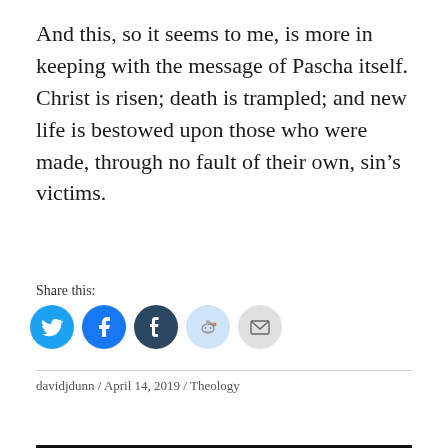And this, so it seems to me, is more in keeping with the message of Pascha itself. Christ is risen; death is trampled; and new life is bestowed upon those who were made, through no fault of their own, sin’s victims.
Share this:
[Figure (other): Row of social media share icon buttons: Twitter (blue bird), Facebook (blue f), Tumblr (dark blue t), Reddit (light blue alien), Email (grey envelope)]
davidjdunn / April 14, 2019 / Theology